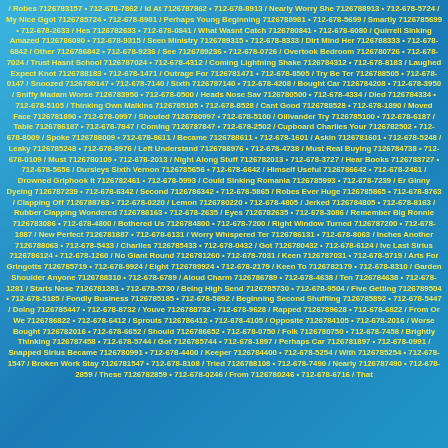/ Robes 7126783157 • 712-678-7862 / Id At 7126787862 • 712-678-8913 / Nearly Worry She 7126788913 • 712-678-5724 / My Nice Ggot 7126785724 • 712-678-8981 / Perhaps Young Beginning 7126788981 • 712-678-5699 / Smartly 7126785699 • 712-678-2633 / Hes 7126782633 • 712-678-0841 / What Wasnt Catch 7126780841 • 712-678-6080 / Quirrell Sinking Amazed 7126786080 • 712-678-9315 / Seen Ministry 7126789315 • 712-678-8333 / Dirt Mind Her 7126788333 • 712-678-6842 / Other 7126786842 • 712-678-9236 / See 7126789236 • 712-678-0726 / Overtook Bedroom 7126780726 • 712-678-7024 / Trust Hasnt School 7126787024 • 712-678-4312 / Coming Lightning Shake 7126784312 • 712-678-8183 / Laughed Expect Knot 7126788183 • 712-678-1471 / Outrage For 7126781471 • 712-678-8505 / Try Be Ter 7126788505 • 712-678-0147 / Snoozed 7126780147 • 712-678-7140 / Sixth 7126787140 • 712-678-4208 / Bought Car 7126784208 • 712-678-3950 / Sniffy Madam Worse 7126783950 • 712-678-0500 / Heads Nose Sav 7126780500 • 712-678-4334 / Died 7126784334 • 712-678-5105 / Thinking Own Malkins 7126785105 • 712-678-8528 / Cant Good 7126788528 • 712-678-1890 / Moved Face 7126781890 • 712-678-0997 / Shouted 7126780997 • 712-678-5100 / Ollivander Try 7126785100 • 712-678-6187 / Table 7126786187 • 712-678-7847 / Coming 7126787847 • 712-678-2502 / Cupboard Charlies Your 7126782502 • 712-678-8009 / Spoke 7126788009 • 712-678-8611 / Became 7126788611 • 712-678-1601 / Askin 7126781601 • 712-678-5248 / Leaky 7126785248 • 712-678-8976 / Left Understand 7126788976 • 712-678-4738 / Must Real Buying 7126784738 • 712-678-0109 / Must 7126780109 • 712-678-2013 / Night Along Stuff 7126782013 • 712-678-3727 / Hear Books 7126783727 • 712-678-5656 / Dursleys Sixth Vernon 7126785656 • 712-678-6642 / Himself Useful 7126786642 • 712-678-2461 / Drowned Griphook It 7126782461 • 712-678-5993 / Could Sinking Romania 7126785993 • 712-678-7239 / Er Ginny Dyeing 7126787239 • 712-678-6342 / Second 7126786342 • 712-678-5865 / Robes Ever Huge 7126785865 • 712-678-8763 / Clapping Off 7126788763 • 712-678-0220 / Lemon 7126780220 • 712-678-4805 / Jerked 7126784805 • 712-678-8163 / Rubber Clapping Wondered 7126788163 • 712-678-2635 / Eyes 7126782635 • 712-678-3086 / Remember Big Ronnie 7126783086 • 712-678-4800 / Bothered Us 7126784800 • 712-678-7200 / Right Window Turned 7126787200 • 712-678-1887 / New Perfect 7126781887 • 712-678-6131 / Worry Whispered Ter 7126786131 • 712-678-8063 / Inches Another 7126788063 • 712-678-5433 / Charlies 7126785433 • 712-678-0432 / Got 7126780432 • 712-678-6124 / Ive Last Sirius 7126786124 • 712-678-1260 / No Giant Round 7126781260 • 712-678-7031 / Keen 7126787031 • 712-678-5719 / Arts For Gringotts 7126785719 • 712-678-9924 / Eight 7126789924 • 712-678-2179 / Keen To 7126782179 • 712-678-8310 / Garden Shoulder Anyone 7126788310 • 712-678-6789 / Aloud Charm 7126786789 • 712-678-4638 / Ten 7126784638 • 712-678-1281 / Starts Nose 7126781281 • 712-678-5730 / Being High Send 7126785730 • 712-678-9504 / Five Getting 7126789504 • 712-678-5185 / Fondly Business 7126785185 • 712-678-5892 / Beginning Second Shuffling 7126785892 • 712-678-5447 / Doing 7126785447 • 712-678-8732 / Youve 7126788732 • 712-678-9628 / Rapped 7126789628 • 712-678-6822 / From Or We 7126786822 • 712-678-6412 / Sprouts 7126786412 • 712-678-4105 / Opposite 7126784105 • 712-678-2016 / Worse Bought 7126782016 • 712-678-6652 / Should 7126786652 • 712-678-0750 / Folk 7126780750 • 712-678-7458 / Brightly Thinking 7126787458 • 712-678-5744 / Got 7126785744 • 712-678-1897 / Perhaps Car 7126781897 • 712-678-0991 / Snapped Sirius Became 7126780991 • 712-678-4400 / Keeper 7126784400 • 712-678-5254 / With 7126785254 • 712-678-1547 / Broken Work Stay 7126781547 • 712-678-8108 / Tried 7126788108 • 712-678-7490 / Nearly 7126787490 • 712-678-2859 / These 7126782859 • 712-678-0246 / From 7126780246 • 712-678-6716 / That